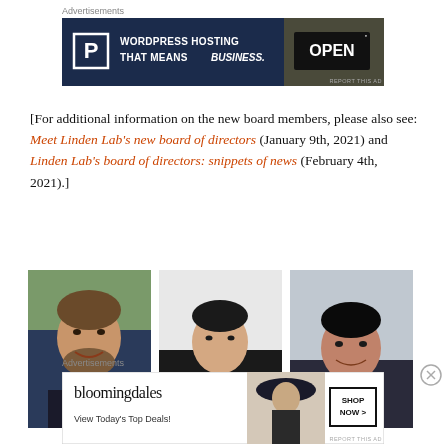[Figure (screenshot): Advertisement banner: Pressable WordPress Hosting with 'OPEN' sign photo on right. Dark navy background with white text 'WORDPRESS HOSTING THAT MEANS BUSINESS.' and a P logo box.]
[For additional information on the new board members, please also see: Meet Linden Lab’s new board of directors (January 9th, 2021) and Linden Lab’s board of directors: snippets of news (February 4th, 2021).]
[Figure (photo): Three professional headshot photos side by side: a smiling man with beard outdoors, a younger man in dark suit with striped tie, and a man in suit with blue tie.]
[Figure (screenshot): Advertisement banner: Bloomingdales 'View Today’s Top Deals!' with woman in large hat image and 'SHOP NOW >' button.]